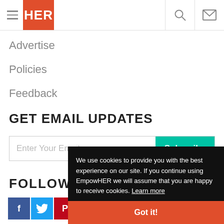HER - hamburger menu, search, mail icons
Advertise
Policies
Feedback
GET EMAIL UPDATES
Enter Your Email | Subscribe
FOLLOW
[Figure (other): Social media icons: Facebook, Twitter, Pinterest]
We use cookies to provide you with the best experience on our site. If you continue using EmpowHER we will assume that you are happy to receive cookies. Learn more
Got it!